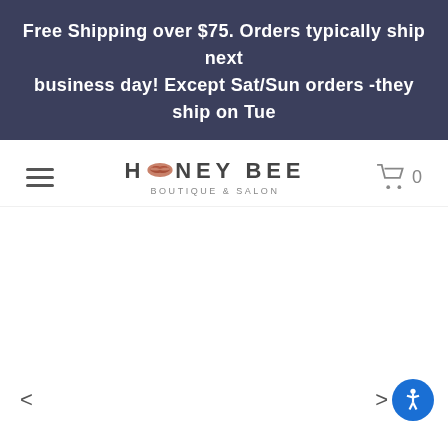Free Shipping over $75. Orders typically ship next business day! Except Sat/Sun orders -they ship on Tue
[Figure (logo): Honey Bee Boutique & Salon logo with hamburger menu and cart icon showing 0 items]
[Figure (other): Main content area - white/blank product display area with left and right navigation arrows and accessibility button]